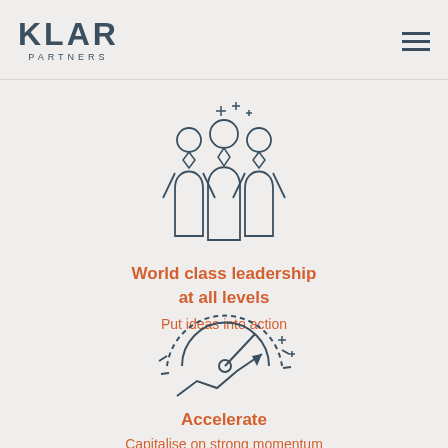KLAR PARTNERS
[Figure (illustration): Three stylized people icons in a group, with sparkle/star accents above, drawn in outline style with dark teal color]
World class leadership at all levels
Put ideas into action
[Figure (illustration): Speedometer/gauge icon with an upward trending arrow and sparkle accents, drawn in outline style with dark teal color]
Accelerate
Capitalise on strong momentum